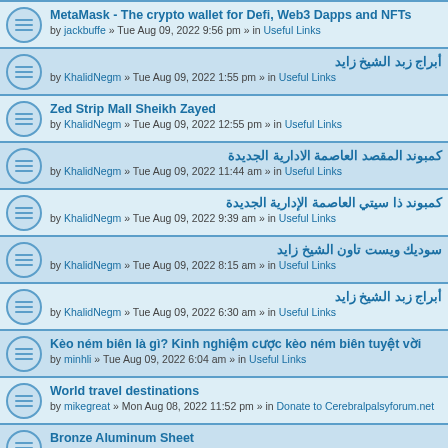MetaMask - The crypto wallet for Defi, Web3 Dapps and NFTs
by jackbuffe » Tue Aug 09, 2022 9:56 pm » in Useful Links
أبراج زبد الشيخ زايد
by KhalidNegm » Tue Aug 09, 2022 1:55 pm » in Useful Links
Zed Strip Mall Sheikh Zayed
by KhalidNegm » Tue Aug 09, 2022 12:55 pm » in Useful Links
كمبوند المقصد العاصمة الادارية الجديدة
by KhalidNegm » Tue Aug 09, 2022 11:44 am » in Useful Links
كمبوند ذا سيتي العاصمة الإدارية الجديدة
by KhalidNegm » Tue Aug 09, 2022 9:39 am » in Useful Links
سوديك ويست تاون الشيخ زايد
by KhalidNegm » Tue Aug 09, 2022 8:15 am » in Useful Links
أبراج زبد الشيخ زايد
by KhalidNegm » Tue Aug 09, 2022 6:30 am » in Useful Links
Kèo ném biên là gì? Kinh nghiệm cược kèo ném biên tuyệt vời
by minhli » Tue Aug 09, 2022 6:04 am » in Useful Links
World travel destinations
by mikegreat » Mon Aug 08, 2022 11:52 pm » in Donate to Cerebralpalsyforum.net
Bronze Aluminum Sheet
by crushermachine2 » Mon Aug 08, 2022 11:13 pm » in Parents of children with Cerebral Palsy
App Development Cost in Singapore
by ameliadavis » Mon Aug 08, 2022 4:17 pm » in Donate to